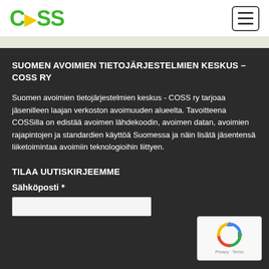COSS (logo) — hamburger menu button
SUOMEN AVOIMIEN TIETOJÄRJESTELMIEN KESKUS – COSS RY
Suomen avoimien tietojärjestelmien keskus - COSS ry tarjoaa jäsenilleen laajan verkoston avoimuuden alueelta. Tavoitteena COSSilla on edistää avoimen lähdekoodin, avoimen datan, avoimien rajapintojen ja standardien käyttöä Suomessa ja näin lisätä jäsentensä liiketoimintaa avoimiin teknologioihin liittyen.
TILAA UUTISKIRJEEMME
Sähköposti *
[Figure (other): reCAPTCHA widget with recycling arrows logo, Privacy and Terms links]